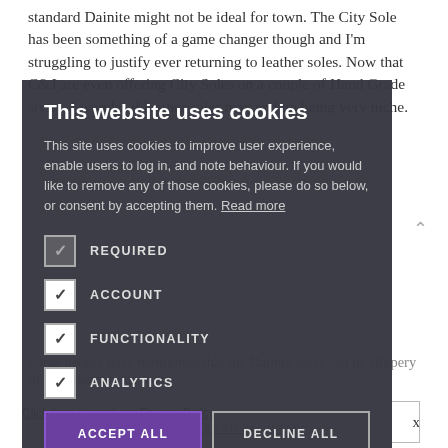standard Dainite might not be ideal for town. The City Sole has been something of a game changer though and I'm struggling to justify ever returning to leather soles. Now that C&J are even offering City Soles on a couple of Hand Grade styles, I wonder if leather soles may end up being very niche.
Some people have mentioned that the Dainite soles can be slippery in wet weather due to the
This website uses cookies
This site uses cookies to improve user experience, enable users to log in, and note behaviour. If you would like to remove any of those cookies, please do so below, or consent by accepting them. Read more
REQUIRED
ACCOUNT
FUNCTIONALITY
ANALYTICS
ACCEPT ALL
DECLINE ALL
Click here to read our Privacy Policy